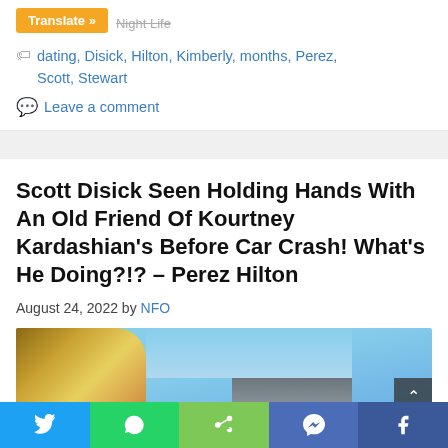Translate »
dating, Disick, Hilton, Kimberly, months, Perez, Scott, Stewart
Leave a comment
Scott Disick Seen Holding Hands With An Old Friend Of Kourtney Kardashian's Before Car Crash! What's He Doing?!? – Perez Hilton
August 24, 2022 by NFO
[Figure (photo): Photo showing two people, a blonde woman on the left and a dark-haired man on the right, against a sky background]
Share bar with Twitter, WhatsApp, Share, Messenger, Facebook buttons